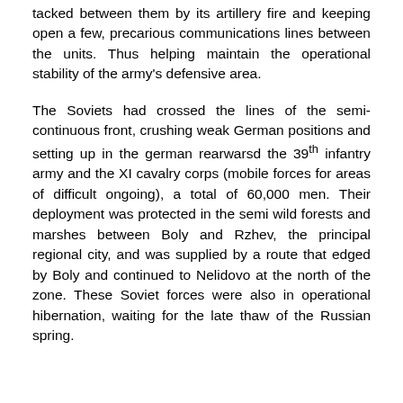tacked between them by its artillery fire and keeping open a few, precarious communications lines between the units. Thus helping maintain the operational stability of the army's defensive area.
The Soviets had crossed the lines of the semi-continuous front, crushing weak German positions and setting up in the german rearwarsd the 39th infantry army and the XI cavalry corps (mobile forces for areas of difficult ongoing), a total of 60,000 men. Their deployment was protected in the semi wild forests and marshes between Boly and Rzhev, the principal regional city, and was supplied by a route that edged by Boly and continued to Nelidovo at the north of the zone. These Soviet forces were also in operational hibernation, waiting for the late thaw of the Russian spring.